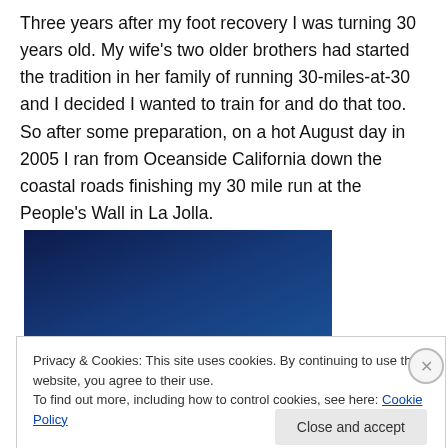Three years after my foot recovery I was turning 30 years old. My wife's two older brothers had started the tradition in her family of running 30-miles-at-30 and I decided I wanted to train for and do that too. So after some preparation, on a hot August day in 2005 I ran from Oceanside California down the coastal roads finishing my 30 mile run at the People's Wall in La Jolla.
[Figure (photo): A dark blue gradient image, possibly a night sky or ocean scene, partially visible behind a cookie consent banner.]
Privacy & Cookies: This site uses cookies. By continuing to use this website, you agree to their use.
To find out more, including how to control cookies, see here: Cookie Policy
Close and accept